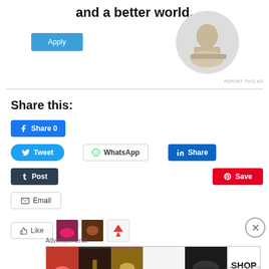and a better world.
[Figure (photo): Circular profile photo of a man sitting at a desk, resting his head on his hand, looking up.]
REPORT THIS AD
Share this:
[Figure (screenshot): Social sharing buttons: Facebook Share 0, Tweet, WhatsApp, LinkedIn Share, Tumblr Post, Pinterest Save, Email]
Like
[Figure (photo): Advertisements banner with Ulta Beauty makeup imagery and SHOP NOW text]
Advertisements
REPORT THIS AD